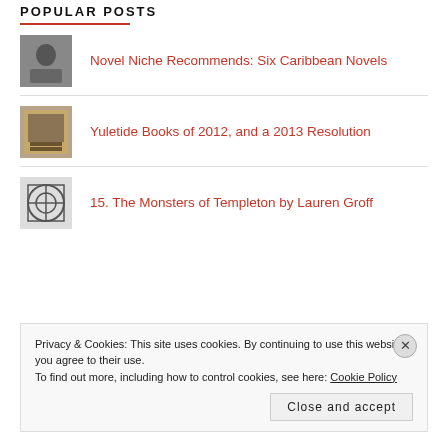POPULAR POSTS
Novel Niche Recommends: Six Caribbean Novels
Yuletide Books of 2012, and a 2013 Resolution
15. The Monsters of Templeton by Lauren Groff
Privacy & Cookies: This site uses cookies. By continuing to use this website, you agree to their use. To find out more, including how to control cookies, see here: Cookie Policy
Close and accept